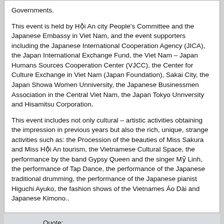Governments.
This event is held by Hội An city People's Committee and the Japanese Embassy in Viet Nam, and the event supporters including the Japanese International Cooperation Agency (JICA), the Japan International Exchange Fund, the Viet Nam – Japan Humans Sources Cooperation Center (VJCC), the Center for Culture Exchange in Viet Nam (Japan Foundation), Sakai City, the Japan Showa Women Unniversity, the Japanese Businessmen Association in the Central Viet Nam, the Japan Tokyo Unnversity and Hisamitsu Corporation.
This event includes not only cultural – artistic activities obtaining the impression in previous years but also the rich, unique, strange activities such as: the Procession of the beauties of Miss Sakura and Miss Hội An tourism, the Vietnamese Cultural Space, the performance by the band Gypsy Queen and the singer Mỹ Linh, the performance of Tap Dance, the performance of the Japanese traditional drumming, the performance of the Japanese pianist Higuchi Ayuko, the fashion shows of the Vietnames Áo Dài and Japanese Kimono..
Quote:
Contact:
The Standing Office: The Hội An Center for Culture and Sports
Add: Sông Hoài Square, Hội An City
Tel: 0510.3861327 - Fax: 0510.3863761